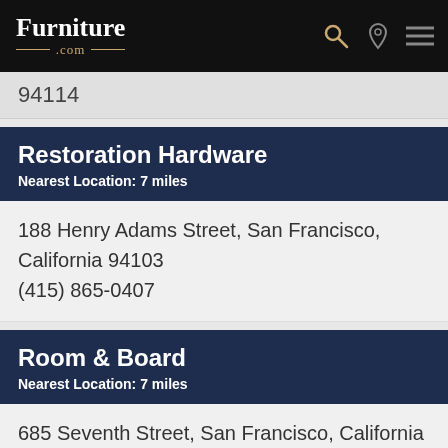Furniture.com
94114
Restoration Hardware
Nearest Location: 7 miles
188 Henry Adams Street, San Francisco, California 94103
(415) 865-0407
Room & Board
Nearest Location: 7 miles
685 Seventh Street, San Francisco, California 94103
(415)252-9280